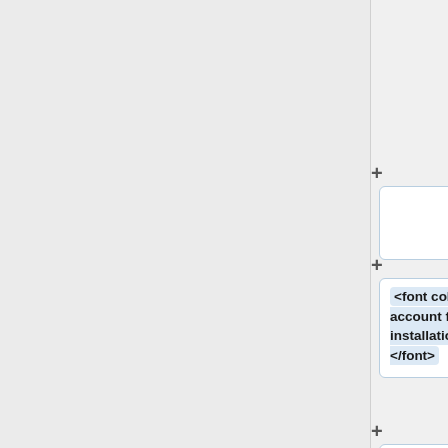restrictions on what software we can install. There is also regularly a queue of requested software installations.
<font color=teal>Please account for '''delays''' in your installation request timeline. </font>
== Running